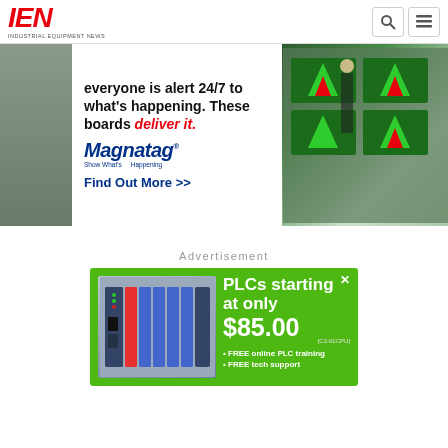[Figure (logo): IEN Industrial Equipment News logo in red italic bold text with tagline below]
[Figure (screenshot): Magnatag banner advertisement showing factory/warehouse imagery, text 'everyone is alert 24/7 to what's happening. These boards deliver it.' with Magnatag brand logo and 'Find Out More >>' call to action]
Advertisement
[Figure (photo): PLCs starting at only $85.00 advertisement on green background showing PLC hardware devices. Includes [C2-01CPU] model label, FREE online PLC training and FREE tech support bullet points.]